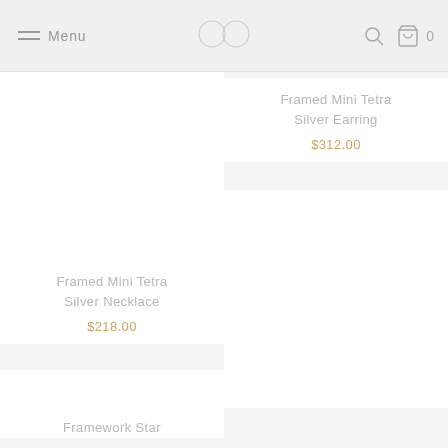Menu | [logo] | [search] | [cart] 0
Framed Mini Tetra Silver Earring
$312.00
Framed Mini Tetra Silver Necklace
$218.00
Framework Star